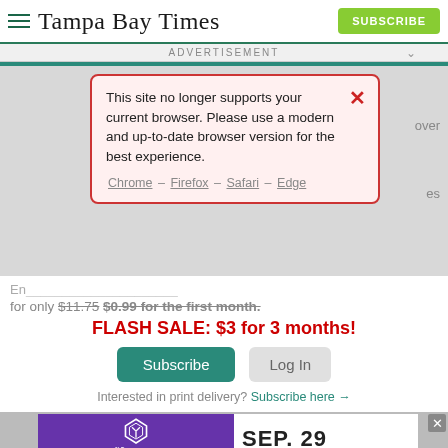Tampa Bay Times SUBSCRIBE
ADVERTISEMENT
[Figure (screenshot): Browser compatibility warning modal with red border on pink background reading: This site no longer supports your current browser. Please use a modern and up-to-date browser version for the best experience. Chrome – Firefox – Safari – Edge]
for only $11.75 $0.99 for the first month.
FLASH SALE: $3 for 3 months!
Subscribe   Log In
Interested in print delivery? Subscribe here →
[Figure (infographic): 42nd Annual Small Business of the Year Awards advertisement banner, SEP. 29, Adcock Financial Group and Vistra logos]